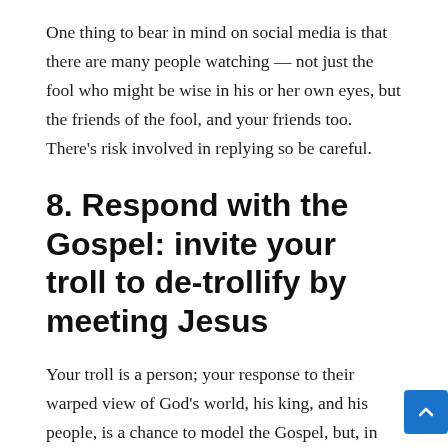One thing to bear in mind on social media is that there are many people watching — not just the fool who might be wise in his or her own eyes, but the friends of the fool, and your friends too. There's risk involved in replying so be careful.
8. Respond with the Gospel: invite your troll to de-trollify by meeting Jesus
Your troll is a person; your response to their warped view of God's world, his king, and his people, is a chance to model the Gospel, but, in your love for your troll, it's also a chance to model the Gospel directly to a person who has taken the time to engage with you, who wants to waste your time in conversation (albeit to score points and LOLs), why not follow the steps above and see if you can also attempt to persuade your troll to give up their trolly ways, or at least have the looking for LOLs second guessing just how funny or effective